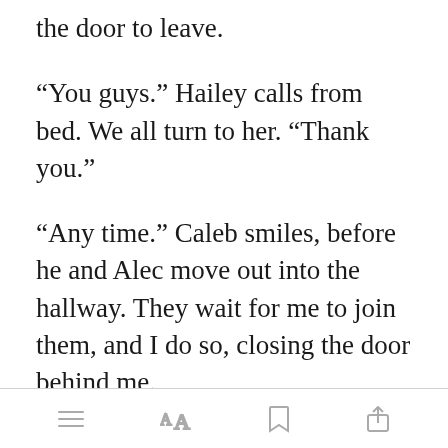the door to leave.
“You guys.” Hailey calls from bed. We all turn to her. “Thank you.”
“Any time.” Caleb smiles, before he and Alec move out into the hallway. They wait for me to join them, and I do so, closing the door behind me.
“I’m going to meet you back at the
[Figure (screenshot): Green 'Open in app' button overlay on text]
toolbar with menu, font, bookmark, and share icons